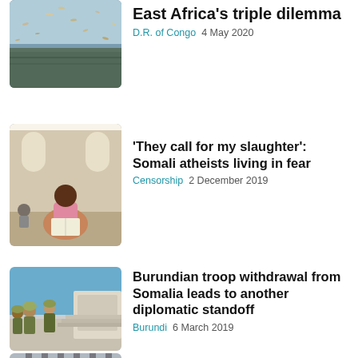East Africa's triple dilemma
D.R. of Congo  4 May 2020
[Figure (photo): Aerial or wide scene with birds or debris flying over a landscape]
'They call for my slaughter': Somali atheists living in fear
Censorship  2 December 2019
[Figure (photo): A person sitting cross-legged reading a book inside a building with arched architecture]
Burundian troop withdrawal from Somalia leads to another diplomatic standoff
Burundi  6 March 2019
[Figure (photo): Soldiers in military gear boarding or standing near a vehicle or aircraft]
2018 across sub-Saharan Africa: Our favourite stories of ori…
[Figure (photo): Partial view of a gate or barred window structure]